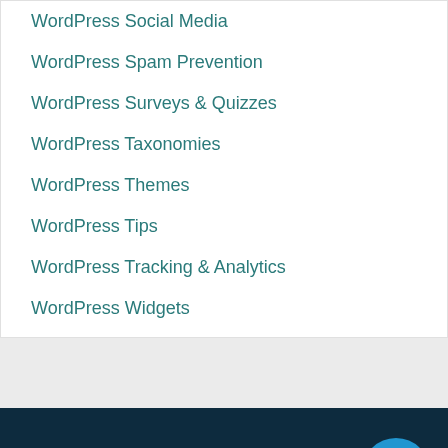WordPress Social Media
WordPress Spam Prevention
WordPress Surveys & Quizzes
WordPress Taxonomies
WordPress Themes
WordPress Tips
WordPress Tracking & Analytics
WordPress Widgets
HOSTING SERVICES
Web Hosting